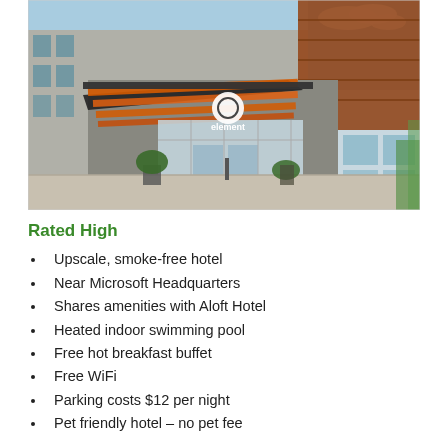[Figure (photo): Exterior photo of Element hotel entrance with orange canopy, glass facade, wood paneling, and blue sky.]
Rated High
Upscale, smoke-free hotel
Near Microsoft Headquarters
Shares amenities with Aloft Hotel
Heated indoor swimming pool
Free hot breakfast buffet
Free WiFi
Parking costs $12 per night
Pet friendly hotel – no pet fee